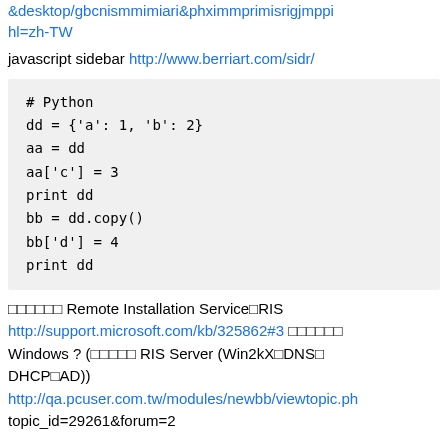&desktop/gbcnismmimiari&phximmprimisrigjmppi hl=zh-TW
javascript sidebar http://www.berriart.com/sidr/
# Python
dd = {'a': 1, 'b': 2}
aa = dd
aa['c'] = 3
print dd
bb = dd.copy()
bb['d'] = 4
print dd
□□□□□□ Remote Installation Service□RIS http://support.microsoft.com/kb/325862#3 □□□□□□ Windows ? (□□□□□ RIS Server (Win2kX□DNS□DHCP□AD)) http://qa.pcuser.com.tw/modules/newbb/viewtopic.ph topic_id=29261&forum=2